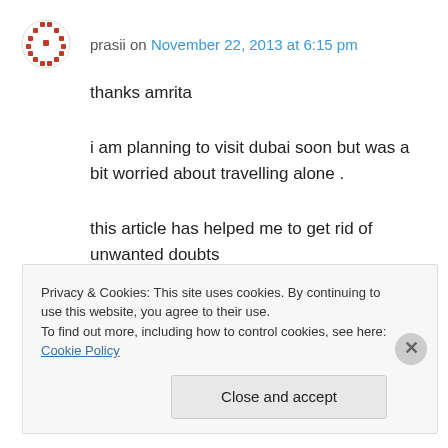prasii on November 22, 2013 at 6:15 pm
thanks amrita

i am planning to visit dubai soon but was a bit worried about travelling alone .

this article has helped me to get rid of unwanted doubts

takecare
↳ Reply
Privacy & Cookies: This site uses cookies. By continuing to use this website, you agree to their use.
To find out more, including how to control cookies, see here: Cookie Policy
Close and accept